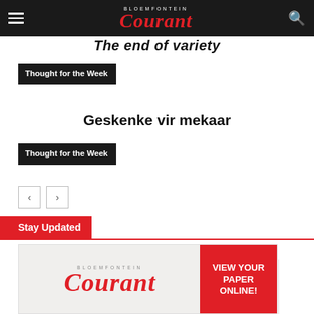Bloemfontein Courant
The end of variety
Thought for the Week
Geskenke vir mekaar
Thought for the Week
Stay Updated
[Figure (logo): Bloemfontein Courant advertisement banner with red Courant logo on left and red box on right with text VIEW YOUR PAPER ONLINE!]